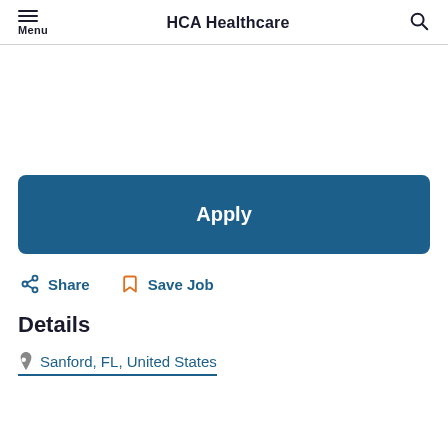HCA Healthcare
Apply
Share   Save Job
Details
Sanford, FL, United States